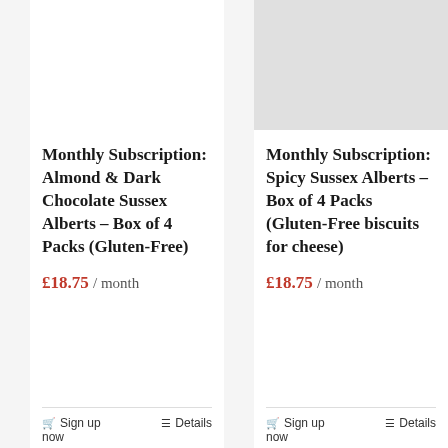[Figure (photo): Left product card image area — white/blank]
Monthly Subscription: Almond & Dark Chocolate Sussex Alberts – Box of 4 Packs (Gluten-Free)
£18.75 / month
Sign up now
Details
[Figure (photo): Right product card image area — light grey placeholder]
Monthly Subscription: Spicy Sussex Alberts – Box of 4 Packs (Gluten-Free biscuits for cheese)
£18.75 / month
Sign up now
Details